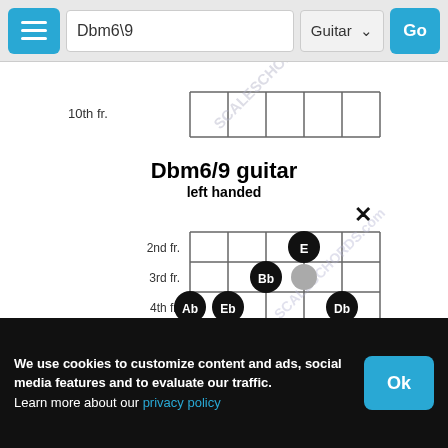Dbm6\9  Guitar  Go
[Figure (other): Guitar chord diagram for Dbm6/9 left handed, showing a partial chord grid with fret markers from 10th fr. at top. The grid shows strings and frets with no notes marked in the top partial view.]
Dbm6/9 guitar left handed
[Figure (other): Guitar chord diagram for Dbm6/9 left handed showing frets 2nd through 6th. An X marks the top-right (muted string). Fingering dots: E at 2nd fr string 3, Bb (dark) at 3rd fr string 3, gray dot at 3rd fr string 2, Ab (dark) at 4th fr string 6, Eb (dark) at 4th fr string 5, Db (dark) at 4th fr string 2, gray dot at 5th fr string 3. Watermark text SCALESCHORDS.com visible.]
We use cookies to customize content and ads, social media features and to evaluate our traffic.
Learn more about our privacy policy